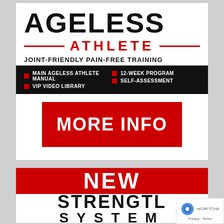[Figure (illustration): Ageless Athlete advertisement banner with logo, 'JOINT-FRIENDLY PAIN-FREE TRAINING' tagline, feature bullets, and a red MORE INFO button]
[Figure (illustration): New Strength System advertisement banner showing 'NEW' in white on red background and 'STRENGTH SYSTEM' in black bold letters below]